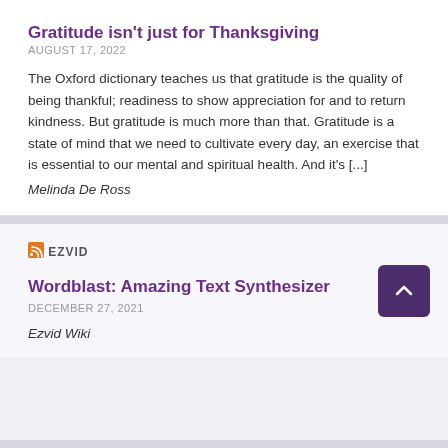Gratitude isn't just for Thanksgiving
AUGUST 17, 2022
The Oxford dictionary teaches us that gratitude is the quality of being thankful; readiness to show appreciation for and to return kindness. But gratitude is much more than that. Gratitude is a state of mind that we need to cultivate every day, an exercise that is essential to our mental and spiritual health. And it's [...]
Melinda De Ross
EZVID
Wordblast: Amazing Text Synthesizer
DECEMBER 27, 2021
Ezvid Wiki